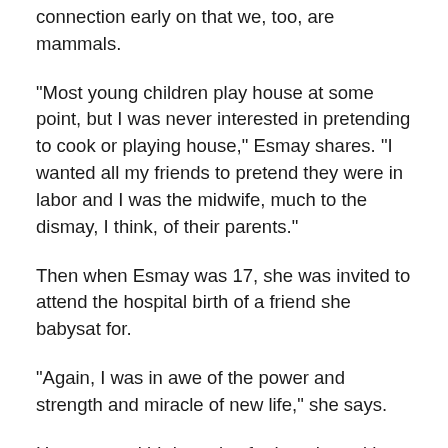connection early on that we, too, are mammals.
“Most young children play house at some point, but I was never interested in pretending to cook or playing house,” Esmay shares. “I wanted all my friends to pretend they were in labor and I was the midwife, much to the dismay, I think, of their parents.”
Then when Esmay was 17, she was invited to attend the hospital birth of a friend she babysat for.
“Again, I was in awe of the power and strength and miracle of new life,” she says.
Her personal birth stories further shaped her passion and work within maternal child health, fully realizing the importance of evidence-based practice. These stories were a sharp contrast to the gentle, supported births she had witnessed, and she began to understand that how